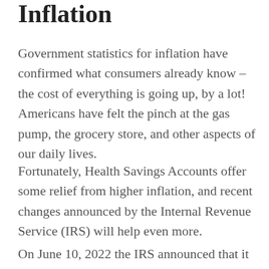Inflation
Government statistics for inflation have confirmed what consumers already know – the cost of everything is going up, by a lot! Americans have felt the pinch at the gas pump, the grocery store, and other aspects of our daily lives.
Fortunately, Health Savings Accounts offer some relief from higher inflation, and recent changes announced by the Internal Revenue Service (IRS) will help even more.
On June 10, 2022 the IRS announced that it